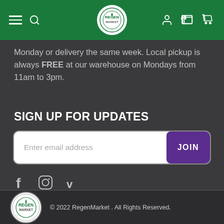Regen Market navigation bar
Monday or delivery the same week. Local pickup is always FREE at our warehouse on Mondays from 11am to 3pm.
SIGN UP FOR UPDATES
Enter email address | JOIN
[Figure (infographic): Social media icons: Facebook (f), Instagram, Vimeo (v)]
[Figure (logo): Regen Market circular logo]
© 2022 RegenMarket . All Rights Reserved.